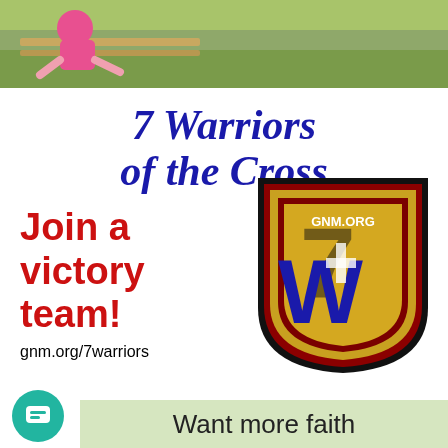[Figure (photo): Partial photo strip at top showing a person in pink clothing on grass/outdoor background]
[Figure (infographic): 7 Warriors of the Cross advertisement with dark blue italic serif title '7 Warriors of the Cross', red bold text 'Join a victory team!', shield logo with W and 7 and GNM.ORG text, and URL gnm.org/7warriors]
5
Want more faith